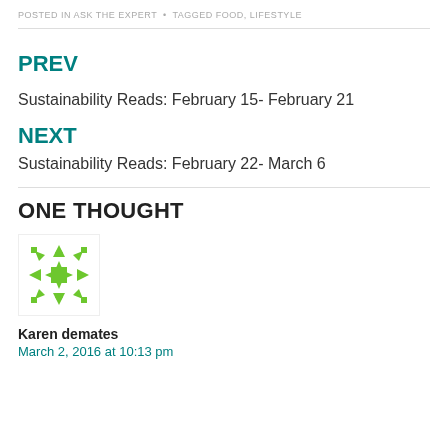POSTED IN ASK THE EXPERT  •  TAGGED FOOD, LIFESTYLE
PREV
Sustainability Reads: February 15- February 21
NEXT
Sustainability Reads: February 22- March 6
ONE THOUGHT
[Figure (illustration): Green geometric snowflake/star pattern avatar icon for user Karen demates]
Karen demates
March 2, 2016 at 10:13 pm